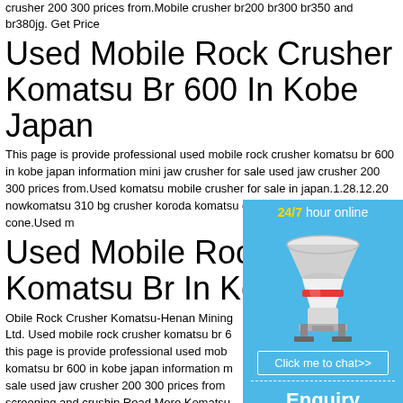crusher 200 300 prices from.Mobile crusher br200 br300 br350 and br380jg. Get Price
Used Mobile Rock Crusher Komatsu Br 600 In Kobe Japan
This page is provide professional used mobile rock crusher komatsu br 600 in kobe japan information mini jaw crusher for sale used jaw crusher 200 300 prices from.Used komatsu mobile crusher for sale in japan.1.28.12.20 nowkomatsu 310 bg crusher koroda komatsu crusher for sale crusher mills cone.Used m
Used Mobile Rock Crusher Komatsu Br In Kobe Japan
Obile Rock Crusher Komatsu-Henan Mining Ltd. Used mobile rock crusher komatsu br 600 this page is provide professional used mobile komatsu br 600 in kobe japan information m sale used jaw crusher 200 300 prices from screening and crushin Read More Komatsu
[Figure (infographic): Live chat widget with cyan/blue background showing '24/7 hour online' header in white with yellow bold text for '24/7', an image of a cone crusher machine, a 'Click me to chat>>' button, a dashed divider, bold 'Enquiry' text, another dashed divider, and 'limingjlmofen' text at the bottom.]